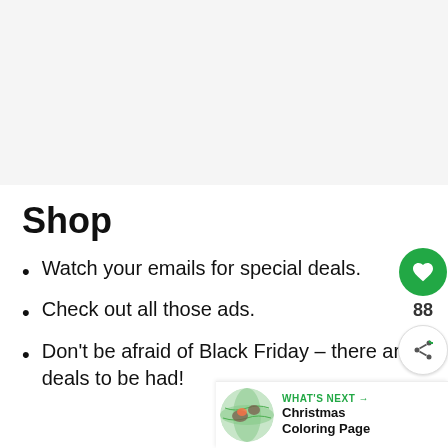Shop
Watch your emails for special deals.
Check out all those ads.
Don't be afraid of Black Friday – there are deals to be had!